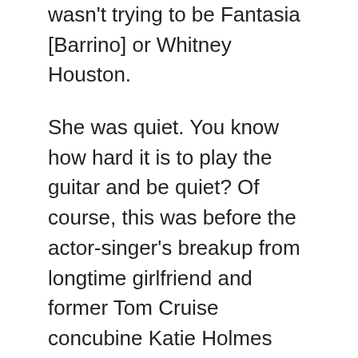wasn't trying to be Fantasia [Barrino] or Whitney Houston.
She was quiet. You know how hard it is to play the guitar and be quiet? Of course, this was before the actor-singer's breakup from longtime girlfriend and former Tom Cruise concubine Katie Holmes came to light. In the world of tabloids, that appears to be pretty scandalous — but in the actual world of real-life humans, the former couple had apparently been broken up for months. Somehow, Vave managed to slide under our radar despite publicly hanging around Foxx since at least June of that year.
She appeared to attend Foxx's BET Awards after-party and seemed quite strategic about not posting anything that could distinctly allude to an alleged romance. Apparently, Foxx is not the type of guy who's going to jump up on a couch and profess his